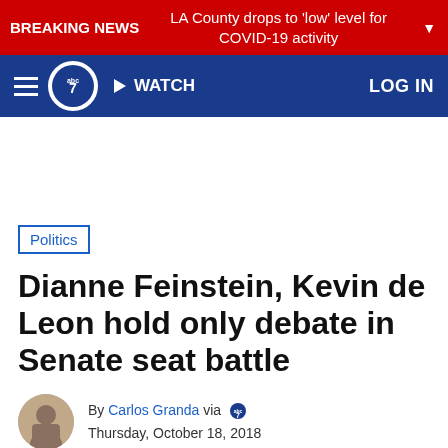BREAKING NEWS  LA County drops to 'low' level for COVID-19 activity
ABC7 WATCH  LOG IN
Politics
Dianne Feinstein, Kevin de Leon hold only debate in Senate seat battle
By Carlos Granda via  Thursday, October 18, 2018